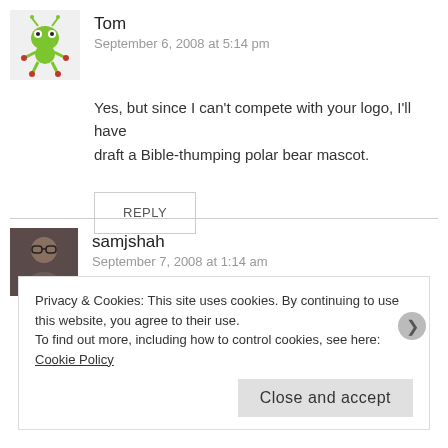[Figure (illustration): Avatar image of user Tom - cartoon green alien/monster figure on white background]
Tom
September 6, 2008 at 5:14 pm
Yes, but since I can't compete with your logo, I'll have draft a Bible-thumping polar bear mascot.
REPLY
[Figure (photo): Avatar photo of user samjshah - person wearing glasses]
samjshah
September 7, 2008 at 1:14 am
I made mine on http://www.says-it.com/seal/
Maybe you could even upload your bible-thumping
Privacy & Cookies: This site uses cookies. By continuing to use this website, you agree to their use.
To find out more, including how to control cookies, see here: Cookie Policy
Close and accept